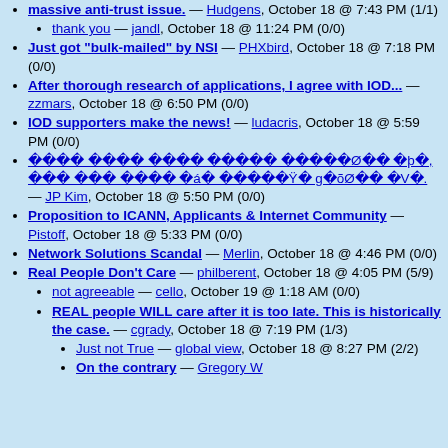massive anti-trust issue. — Hudgens, October 18 @ 7:43 PM (1/1)
thank you — jandl, October 18 @ 11:24 PM (0/0)
Just got "bulk-mailed" by NSI — PHXbird, October 18 @ 7:18 PM (0/0)
After thorough research of applications, I agree with IOD... — zzmars, October 18 @ 6:50 PM (0/0)
IOD supporters make the news! — ludacris, October 18 @ 5:59 PM (0/0)
[garbled text] — JP Kim, October 18 @ 5:50 PM (0/0)
Proposition to ICANN, Applicants & Internet Community — Pistoff, October 18 @ 5:33 PM (0/0)
Network Solutions Scandal — Merlin, October 18 @ 4:46 PM (0/0)
Real People Don't Care — philberent, October 18 @ 4:05 PM (5/9)
not agreeable — cello, October 19 @ 1:18 AM (0/0)
REAL people WILL care after it is too late. This is historically the case. — cgrady, October 18 @ 7:19 PM (1/3)
Just not True — global view, October 18 @ 8:27 PM (2/2)
On the contrary — Gregory W